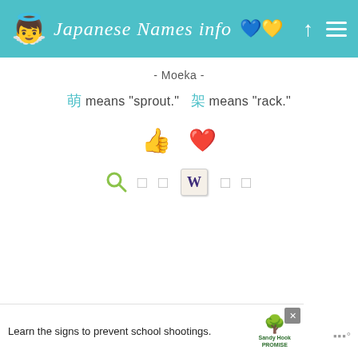Japanese Names info 🇺🇦
- Moeka -
萌 means "sprout."   架 means "rack."
[Figure (other): Thumbs up and heart reaction icons]
[Figure (other): Search, share, Wikipedia, and other action icons]
[Figure (other): Advertisement banner: Learn the signs to prevent school shootings. Sandy Hook Promise logo.]